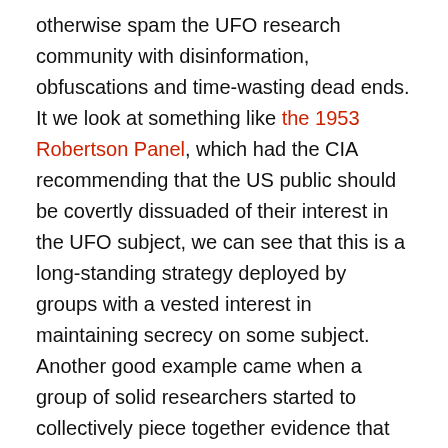otherwise spam the UFO research community with disinformation, obfuscations and time-wasting dead ends. It we look at something like the 1953 Robertson Panel, which had the CIA recommending that the US public should be covertly dissuaded of their interest in the UFO subject, we can see that this is a long-standing strategy deployed by groups with a vested interest in maintaining secrecy on some subject. Another good example came when a group of solid researchers started to collectively piece together evidence that something like a Secret Space Program exists in the US. It was not long after a key conference on the subject in 2014, that people like Corey Goode showed up on the scene, saying (with no evidence other than personal testimony) that he had been in the program, and he told incredible stories of being stationed on Mars, of being a hollow earth ambassador, and of Blue Avian aliens who are here to help us in our spiritual evolution. Goode was promoted by people like David Wilcock on his Cosmic Disclosure show on Gaia